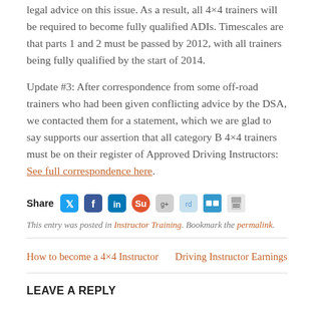legal advice on this issue. As a result, all 4×4 trainers will be required to become fully qualified ADIs. Timescales are that parts 1 and 2 must be passed by 2012, with all trainers being fully qualified by the start of 2014.
Update #3: After correspondence from some off-road trainers who had been given conflicting advice by the DSA, we contacted them for a statement, which we are glad to say supports our assertion that all category B 4×4 trainers must be on their register of Approved Driving Instructors: See full correspondence here.
[Figure (infographic): Share buttons row: Twitter, Facebook, LinkedIn, StumbleUpon, Google+, Reddit, Delicious, Print icons]
This entry was posted in Instructor Training. Bookmark the permalink.
How to become a 4×4 Instructor    Driving Instructor Earnings
LEAVE A REPLY